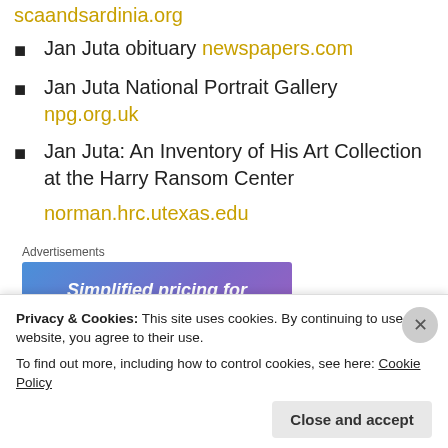scaandsardinia.org
Jan Juta obituary newspapers.com
Jan Juta National Portrait Gallery npg.org.uk
Jan Juta: An Inventory of His Art Collection at the Harry Ransom Center
norman.hrc.utexas.edu
[Figure (screenshot): Advertisement banner with blue-purple gradient background and white italic text reading 'Simplified pricing for everything you need']
Privacy & Cookies: This site uses cookies. By continuing to use this website, you agree to their use. To find out more, including how to control cookies, see here: Cookie Policy